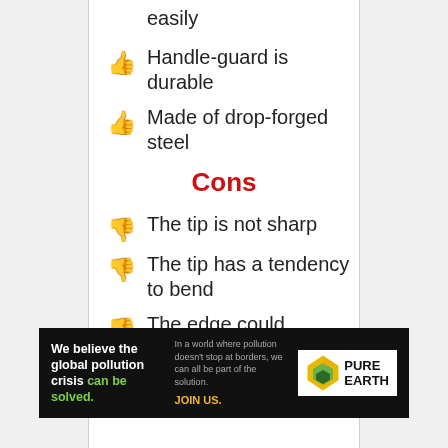easily
Handle-guard is durable
Made of drop-forged steel
Cons
The tip is not sharp
The tip has a tendency to bend
The edge could sometimes chip
[Figure (infographic): Pure Earth advertisement banner: 'We believe the global pollution crisis can be solved.' with Pure Earth logo]